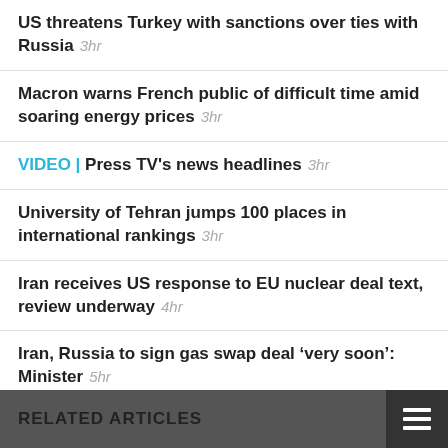US threatens Turkey with sanctions over ties with Russia  3hr
Macron warns French public of difficult time amid soaring energy prices  3hr
VIDEO | Press TV's news headlines  3hr
University of Tehran jumps 100 places in international rankings  3hr
Iran receives US response to EU nuclear deal text, review underway  4hr
Iran, Russia to sign gas swap deal ‘very soon’: Minister  5hr
MORE
RELATED ARTICLES